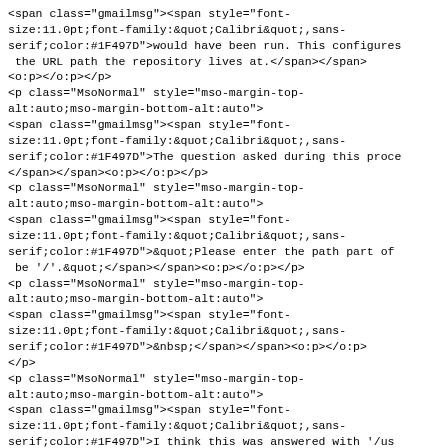<span class="gmailmsg"><span style="font-size:11.0pt;font-family:&quot;Calibri&quot;,sans-serif;color:#1F497D">would have been run. This configures the URL path the repository lives at.</span></span>
<o:p></o:p></p>
<p class="MsoNormal" style="mso-margin-top-alt:auto;mso-margin-bottom-alt:auto">
<span class="gmailmsg"><span style="font-size:11.0pt;font-family:&quot;Calibri&quot;,sans-serif;color:#1F497D">The question asked during this proce
</span></span><o:p></o:p></p>
<p class="MsoNormal" style="mso-margin-top-alt:auto;mso-margin-bottom-alt:auto">
<span class="gmailmsg"><span style="font-size:11.0pt;font-family:&quot;Calibri&quot;,sans-serif;color:#1F497D">&quot;Please enter the path part of be '/'.&quot;</span></span><o:p></o:p></p>
<p class="MsoNormal" style="mso-margin-top-alt:auto;mso-margin-bottom-alt:auto">
<span class="gmailmsg"><span style="font-size:11.0pt;font-family:&quot;Calibri&quot;,sans-serif;color:#1F497D">&nbsp;</span></span><o:p></o:p>
</p>
<p class="MsoNormal" style="mso-margin-top-alt:auto;mso-margin-bottom-alt:auto">
<span class="gmailmsg"><span style="font-size:11.0pt;font-family:&quot;Calibri&quot;,sans-serif;color:#1F497D">I think this was answered with '/us the disk, rather than the URL you wanted.</span>
</span><o:p></o:p></p>
<p class="MsoNormal" style="mso-margin-top-